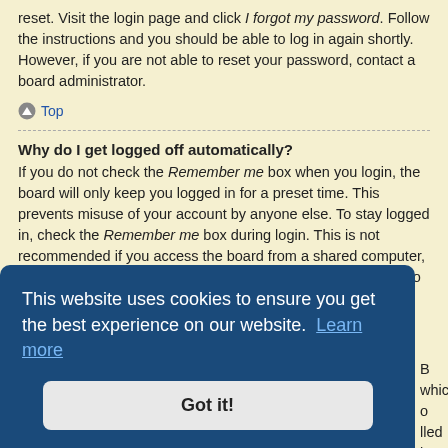reset. Visit the login page and click I forgot my password. Follow the instructions and you should be able to log in again shortly. However, if you are not able to reset your password, contact a board administrator.
Top
Why do I get logged off automatically?
If you do not check the Remember me box when you login, the board will only keep you logged in for a preset time. This prevents misuse of your account by anyone else. To stay logged in, check the Remember me box during login. This is not recommended if you access the board from a shared computer, e.g. library, internet cafe, university computer lab, etc. If you do not see this checkbox, it means a board administrator has disabled this feature.
This website uses cookies to ensure you get the best experience on our website. Learn more
Got it!
B which o lled by a deleting board cookies may help.